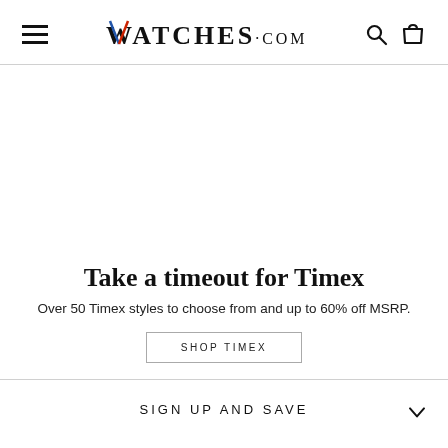WATCHES.COM
Take a timeout for Timex
Over 50 Timex styles to choose from and up to 60% off MSRP.
SHOP TIMEX
SIGN UP AND SAVE